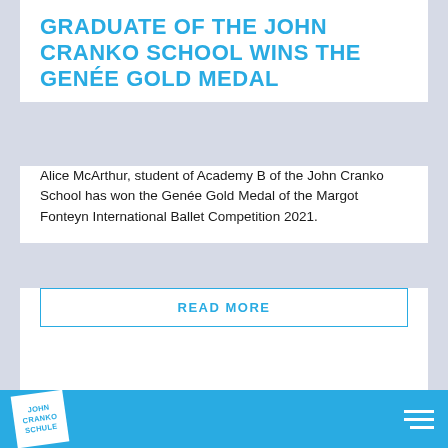GRADUATE OF THE JOHN CRANKO SCHOOL WINS THE GENÉE GOLD MEDAL
Alice McArthur, student of Academy B of the John Cranko School has won the Genée Gold Medal of the Margot Fonteyn International Ballet Competition 2021.
READ MORE
[Figure (other): White content card area below the article card, partially visible]
JOHN CRANKO SCHULE